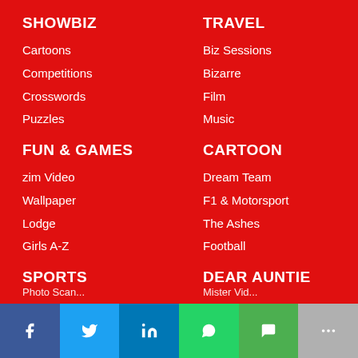SHOWBIZ
Cartoons
Competitions
Crosswords
Puzzles
FUN & GAMES
zim Video
Wallpaper
Lodge
Girls A-Z
SPORTS
TRAVEL
Biz Sessions
Bizarre
Film
Music
CARTOON
Dream Team
F1 & Motorsport
The Ashes
Football
DEAR AUNTIE